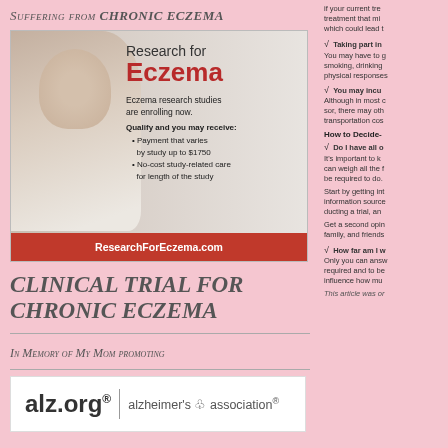Suffering from CHRONIC ECZEMA
[Figure (illustration): Advertisement for eczema research studies. Shows a woman with eczema on her back. Text reads: Research for Eczema. Eczema research studies are enrolling now. Qualify and you may receive: Payment that varies by study up to $1750. No-cost study-related care for length of the study. ResearchForEczema.com]
CLINICAL TRIAL FOR CHRONIC ECZEMA
In Memory of My Mom promoting
[Figure (logo): alz.org® | alzheimer's association® logo]
Alzheimer's Awareness
if your current tre treatment that mi which could lead t
√ Taking part in You may have to g smoking, drinking physical responses
√ You may incu Although in most c sor, there may oth transportation cos
How to Decide-
√ Do I have all o It's important to k can weigh all the f be required to do.
Start by getting int information source ducting a trial, an
Get a second opin family, and friends
√ How far am I w Only you can answ required and to be influence how mu
This article was or